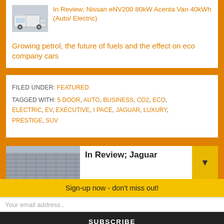In Review; Nissan eNV200 80kW Acenta Van 40kWh (Auto/ Electric)
Growing petrol, the future of fuels and the effect on eco company cars
FILED UNDER: FEATURED
TAGGED WITH: 5 DOOR, AUTO, BUSINESS, CO2, ECO, ELECTRIC, EV, EXECUTIVE, I PACE, JAGUAR, LUXURY, PRESTIGE, SUV
In Review; Jaguar
Sign-up now - don't miss out!
Your email address..
SUBSCRIBE